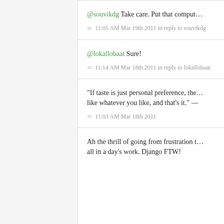@souvikdg Take care. Put that comput…
∞  11:05 AM Mar 19th 2011 in reply to souvikdg
@lokallobaat Sure!
∞  11:14 AM Mar 18th 2011 in reply to lokallobaat
“If taste is just personal preference, the… like whatever you like, and that’s it.” —
∞  11:03 AM Mar 18th 2011
Ah the thrill of going from frustration t… all in a day’s work. Django FTW!